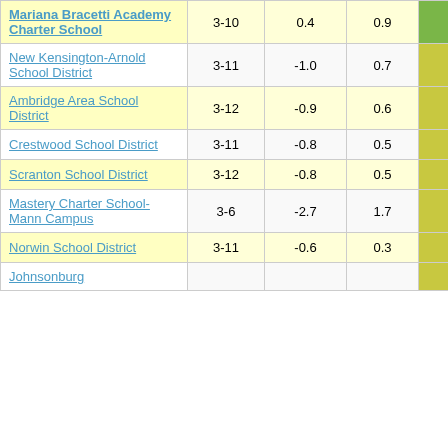| School/District | Grades |  |  | Score |
| --- | --- | --- | --- | --- |
| Mariana Bracetti Academy Charter School | 3-10 | 0.4 | 0.9 | 0.41 |
| New Kensington-Arnold School District | 3-11 | -1.0 | 0.7 | -1.55 |
| Ambridge Area School District | 3-12 | -0.9 | 0.6 | -1.55 |
| Crestwood School District | 3-11 | -0.8 | 0.5 | -1.58 |
| Scranton School District | 3-12 | -0.8 | 0.5 | -1.60 |
| Mastery Charter School-Mann Campus | 3-6 | -2.7 | 1.7 | -1.60 |
| Norwin School District | 3-11 | -0.6 | 0.3 | -1.62 |
| Johnsonburg... |  |  |  |  |